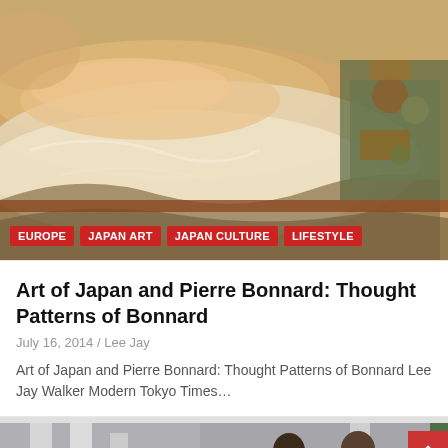[Figure (photo): A classic nude painting showing a reclining figure on white drapery with items on a table to the right, post-impressionist style]
EUROPE
JAPAN ART
JAPAN CULTURE
LIFESTYLE
Art of Japan and Pierre Bonnard: Thought Patterns of Bonnard
July 16, 2014 / Lee Jay
Art of Japan and Pierre Bonnard: Thought Patterns of Bonnard Lee Jay Walker Modern Tokyo Times…
[Figure (photo): Photograph of two men in suits walking together between white columns at what appears to be the White House, a woman visible in the background, winter trees visible]